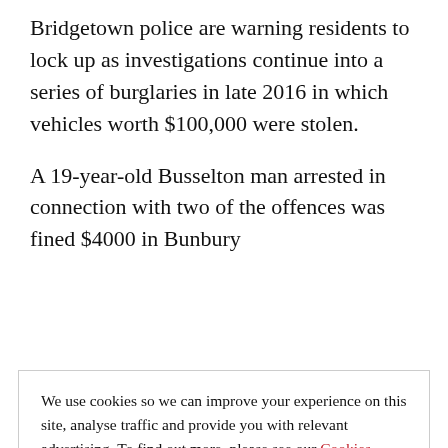Bridgetown police are warning residents to lock up as investigations continue into a series of burglaries in late 2016 in which vehicles worth $100,000 were stolen.
A 19-year-old Busselton man arrested in connection with two of the offences was fined $4000 in Bunbury
We use cookies so we can improve your experience on this site, analyse traffic and provide you with relevant advertising. To find out more, please see our Cookies Guide.

By continuing to use this site, you agree to our use of cookies.